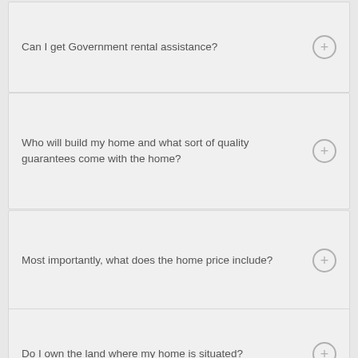Can I get Government rental assistance?
Who will build my home and what sort of quality guarantees come with the home?
Most importantly, what does the home price include?
Do I own the land where my home is situated?
So, how do I become a resident?